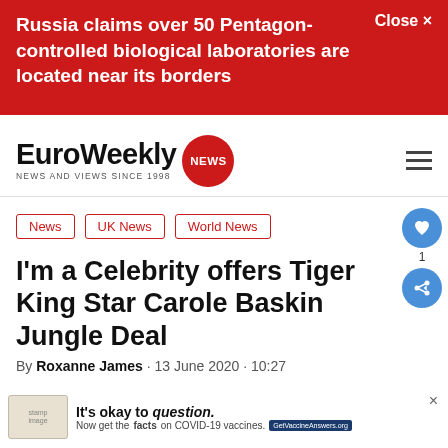Russia claims over 50 Pentagon-controlled biological laboratories are located near its borders   Close ×
[Figure (logo): EuroWeekly NEWS logo with red circle NEWS badge and tagline NEWS AND VIEWS SINCE 1998]
News   UK News   World News
I'm a Celebrity offers Tiger King Star Carole Baskin Jungle Deal
By Roxanne James · 13 June 2020 · 10:27
[Figure (photo): Partial view of article image at bottom, with advertisement overlay reading: It's okay to question. Now get the facts on COVID-19 vaccines. GetVaccineAnswers.org]